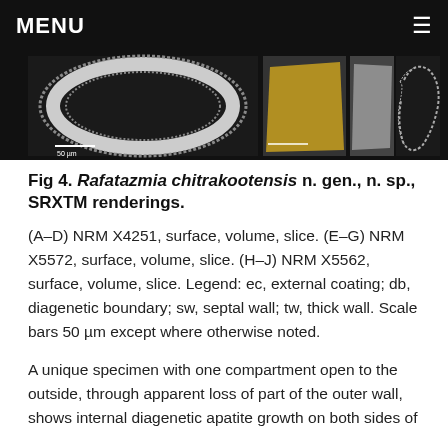MENU
[Figure (photo): SRXTM renderings of Rafatazmia chitrakootensis specimens: A grayscale CT cross-section scan showing a toroidal/ring-shaped specimen (left panel), two yellowish/tan specimens showing surface texture (middle panels), and a grayscale CT scan showing external coating texture (right panel). Scale bar 50 µm noted on first panel.]
Fig 4. Rafatazmia chitrakootensis n. gen., n. sp., SRXTM renderings.
(A–D) NRM X4251, surface, volume, slice. (E–G) NRM X5572, surface, volume, slice. (H–J) NRM X5562, surface, volume, slice. Legend: ec, external coating; db, diagenetic boundary; sw, septal wall; tw, thick wall. Scale bars 50 µm except where otherwise noted.
A unique specimen with one compartment open to the outside, through apparent loss of part of the outer wall, shows internal diagenetic apatite growth on both sides of